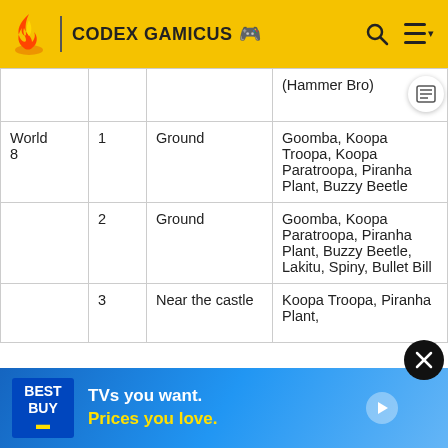CODEX GAMICUS
| World | Level | Type | Enemies |
| --- | --- | --- | --- |
|  |  |  | (Hammer Bro) |
| World 8 | 1 | Ground | Goomba, Koopa Troopa, Koopa Paratroopa, Piranha Plant, Buzzy Beetle |
|  | 2 | Ground | Goomba, Koopa Paratroopa, Piranha Plant, Buzzy Beetle, Lakitu, Spiny, Bullet Bill |
|  | 3 | Near the castle | Koopa Troopa, ..., Piranha Plant, ... |